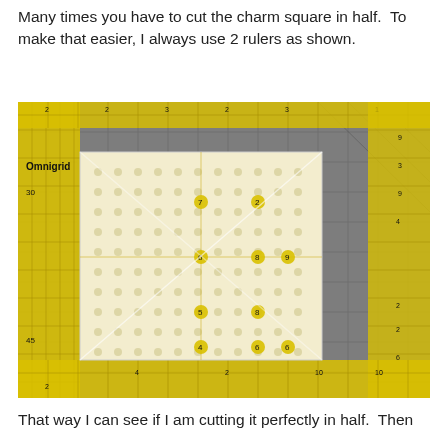Many times you have to cut the charm square in half.  To make that easier, I always use 2 rulers as shown.
[Figure (photo): Photograph of a patterned fabric charm square placed on a gray cutting mat, with two yellow Omnigrid rulers positioned over it to aid in cutting the square in half.]
That way I can see if I am cutting it perfectly in half.  Then